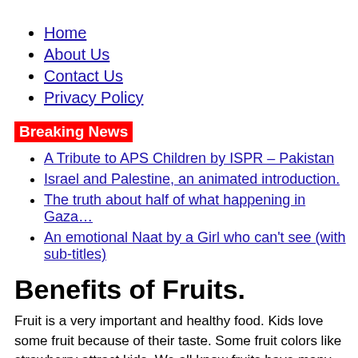Home
About Us
Contact Us
Privacy Policy
Breaking News
A Tribute to APS Children by ISPR – Pakistan
Israel and Palestine, an animated introduction.
The truth about half of what happening in Gaza…
An emotional Naat by a Girl who can't see (with sub-titles)
Benefits of Fruits.
Fruit is a very important and healthy food. Kids love some fruit because of their taste. Some fruit colors like strawberry attract kids. We all know fruits have many benefits. They are goods source of many vitamins and minerals. I just then